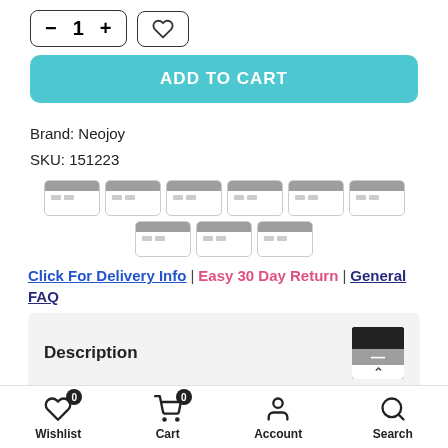[Figure (screenshot): Quantity selector with minus, 1, plus buttons and a heart/wishlist button]
ADD TO CART
Brand: Neojoy
SKU: 151223
[Figure (other): Row of 9 payment method card icons (credit/debit card icons)]
Click For Delivery Info | Easy 30 Day Return | General FAQ
Description
Key Featu...
Wishlist 0  Cart 0  Account  Search